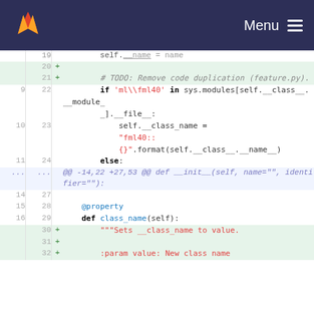GitLab — Menu
[Figure (screenshot): GitLab diff view showing Python code changes including TODO comment, if/else block with sys.modules check, self.__class_name assignment, property decorator, and docstring addition.]